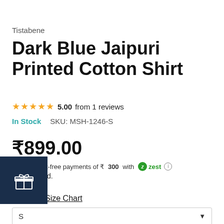Tistabene
Dark Blue Jaipuri Printed Cotton Shirt
★★★★★ 5.00 from 1 reviews
In Stock    SKU: MSH-1246-S
₹899.00
Or 3 interest-free payments of ₹ 300 with zest ℹ
Tax included.
Size Chart
S